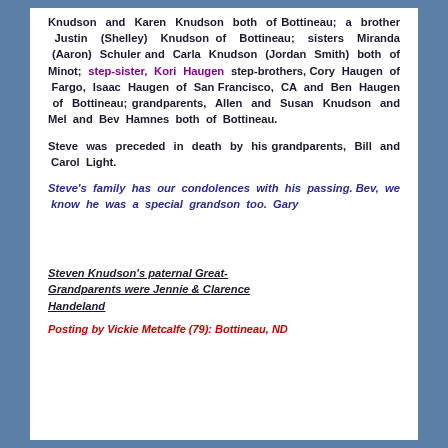Knudson and Karen Knudson both of Bottineau; a brother Justin (Shelley) Knudson of Bottineau; sisters Miranda (Aaron) Schuler and Carla Knudson (Jordan Smith) both of Minot; step-sister, Kori Haugen step-brothers, Cory Haugen of Fargo, Isaac Haugen of San Francisco, CA and Ben Haugen of Bottineau; grandparents, Allen and Susan Knudson and Mel and Bev Hamnes both of Bottineau.
Steve was preceded in death by his grandparents, Bill and Carol Light.
Steve's family has our condolences with his passing. Bev, we know he was a special grandson too. Gary
Steven Knudson's paternal Great-Grandparents were Jennie & Clarence Handeland
Posting by Vickie Metcalfe (79): Bottineau, ND